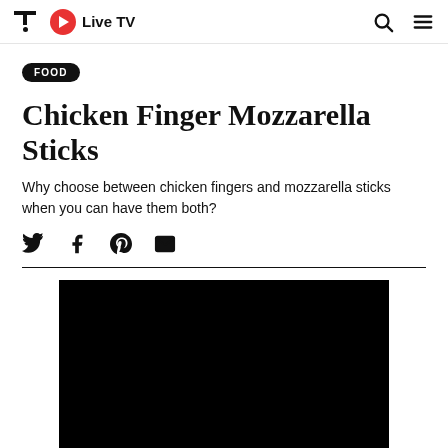Live TV
FOOD
Chicken Finger Mozzarella Sticks
Why choose between chicken fingers and mozzarella sticks when you can have them both?
[Figure (other): Black image placeholder / article photo]
[Figure (screenshot): Social share icons: Twitter, Facebook, Pinterest, Email]